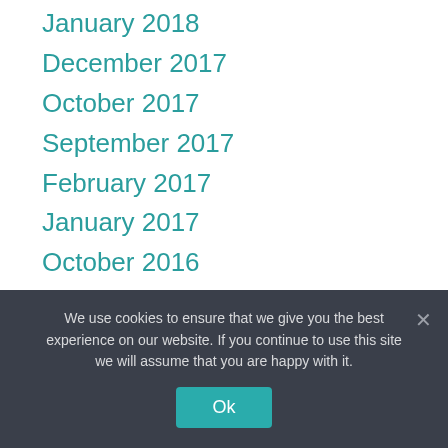January 2018
December 2017
October 2017
September 2017
February 2017
January 2017
October 2016
August 2016
April 2016
November 2015
October 2015
We use cookies to ensure that we give you the best experience on our website. If you continue to use this site we will assume that you are happy with it.